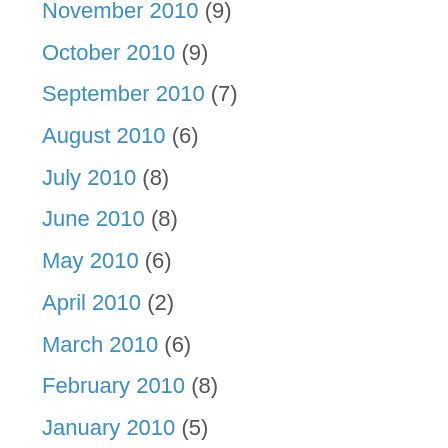November 2010 (9)
October 2010 (9)
September 2010 (7)
August 2010 (6)
July 2010 (8)
June 2010 (8)
May 2010 (6)
April 2010 (2)
March 2010 (6)
February 2010 (8)
January 2010 (5)
December 2009 (4)
November 2009 (7)
October 2009 (6)
September 2009 (7)